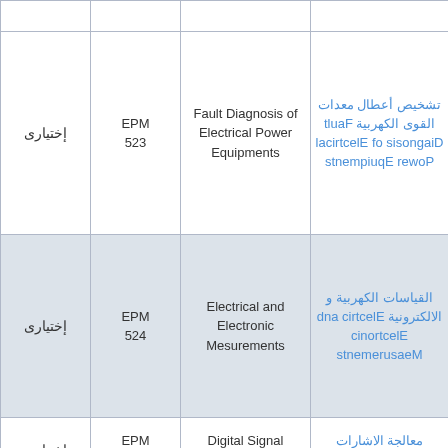| إختیاری | Code | English Name | Arabic Name / English Name |
| --- | --- | --- | --- |
| إختیاری | EPM 523 | Fault Diagnosis of Electrical Power Equipments | تشخيص أعطال معدات القوى الكهربية Fault Diagnosis of Electrical Power Equipments |
| إختیاری | EPM 524 | Electrical and Electronic Mesurements | القياسات الكهربية و الالكترونية Electric and Electronic Measurements |
| إختیاری | EPM 525 | Digital Signal Processing | معالجة الاشارات الرقمية Digital Signal |